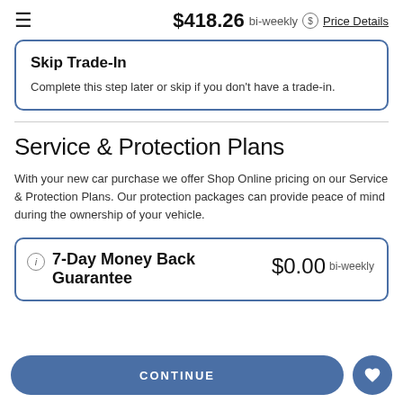≡  $418.26 bi-weekly ⓢ Price Details
Skip Trade-In
Complete this step later or skip if you don't have a trade-in.
Service & Protection Plans
With your new car purchase we offer Shop Online pricing on our Service & Protection Plans. Our protection packages can provide peace of mind during the ownership of your vehicle.
7-Day Money Back Guarantee
$0.00 bi-weekly